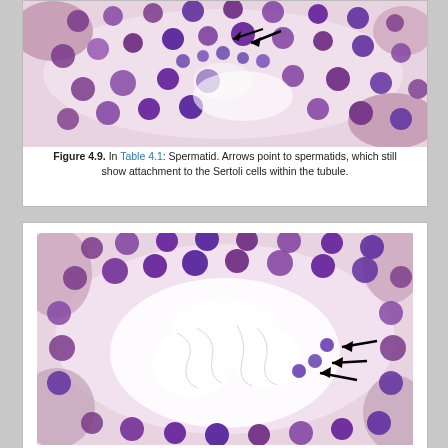[Figure (photo): Histological micrograph (H&E stain) of testicular tubule cross-section showing spermatids with an arrow pointing to cells attached to Sertoli cells within the tubule. Top portion of the page.]
Figure 4.9. In Table 4.1: Spermatid. Arrows point to spermatids, which still show attachment to the Sertoli cells within the tubule.
[Figure (photo): Histological micrograph (H&E stain) of testicular tubule showing spermatids in the lumen with three arrows pointing to cells in the central region of the tubule. Bottom portion of the page.]